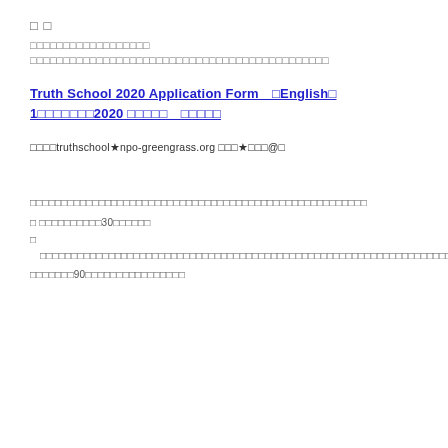□ □
□□□□□□□□□□□□□□□□□□
□□□□□□□□□□□□□□□□□□□□□□□□□□□□□□□□□□□□□□□□□□□□□
Truth School 2020 Application Form　□English□
1□□□□□□□2020 □□□□□　□□□□□
□□□□truthschool★npo-greengrass.org □□□★□□□@□
□□□□□□□□□□□□□□□□□□□□□□□□□□□□□□□□□□□□□□□□□□□□□□□□□□□□□□
□ □□□□□□□□□□30□□□□□□
□ □□□□□□□□□□□□□□□□□□□□□□□□□□□□□□□□□□□□□□□□□□□□□□□□□□□□□□□□□□□□□□□□□□□□□□□□□□□□□□□□□□□□□□□□□□□□□□□□□□□□□□□□□□
□□□□□□□90□□□□□□□□□□□□□□□□